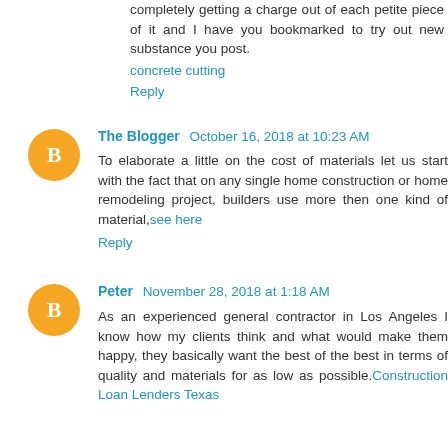completely getting a charge out of each petite piece of it and I have you bookmarked to try out new substance you post.
concrete cutting
Reply
The Blogger  October 16, 2018 at 10:23 AM
To elaborate a little on the cost of materials let us start with the fact that on any single home construction or home remodeling project, builders use more then one kind of material,see here
Reply
Peter  November 28, 2018 at 1:18 AM
As an experienced general contractor in Los Angeles I know how my clients think and what would make them happy, they basically want the best of the best in terms of quality and materials for as low as possible.Construction Loan Lenders Texas